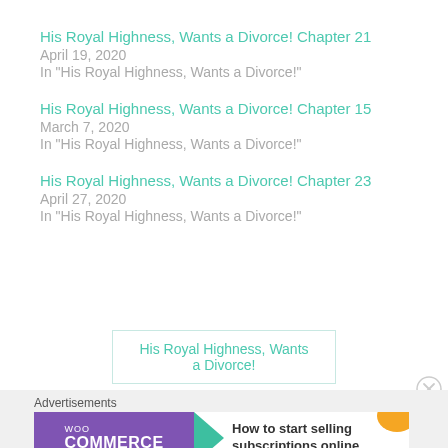His Royal Highness, Wants a Divorce! Chapter 21
April 19, 2020
In "His Royal Highness, Wants a Divorce!"
His Royal Highness, Wants a Divorce! Chapter 15
March 7, 2020
In "His Royal Highness, Wants a Divorce!"
His Royal Highness, Wants a Divorce! Chapter 23
April 27, 2020
In "His Royal Highness, Wants a Divorce!"
His Royal Highness, Wants a Divorce!
Advertisements
[Figure (screenshot): WooCommerce advertisement banner: How to start selling subscriptions online]